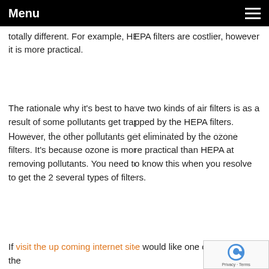Menu
totally different. For example, HEPA filters are costlier, however it is more practical.
The rationale why it's best to have two kinds of air filters is as a result of some pollutants get trapped by the HEPA filters. However, the other pollutants get eliminated by the ozone filters. It's because ozone is more practical than HEPA at removing pollutants. You need to know this when you resolve to get the 2 several types of filters.
If visit the up coming internet site would like one of the best air…